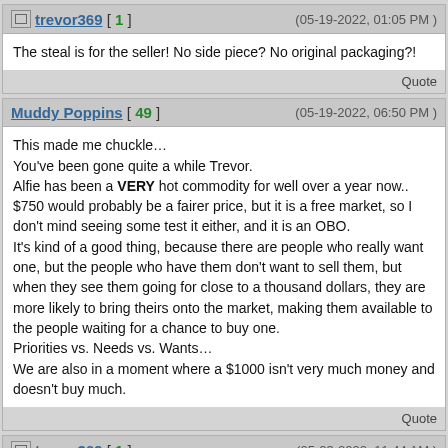trevor369 [ 1 ] (05-19-2022, 01:05 PM)
The steal is for the seller! No side piece? No original packaging?!
Quote
Muddy Poppins [ 49 ] (05-19-2022, 06:50 PM)
This made me chuckle… You've been gone quite a while Trevor. Alfie has been a VERY hot commodity for well over a year now.. $750 would probably be a fairer price, but it is a free market, so I don't mind seeing some test it either, and it is an OBO. It's kind of a good thing, because there are people who really want one, but the people who have them don't want to sell them, but when they see them going for close to a thousand dollars, they are more likely to bring theirs onto the market, making them available to the people waiting for a chance to buy one. Priorities vs. Needs vs. Wants… We are also in a moment where a $1000 isn't very much money and doesn't buy much.
Quote
trevor369 [ 1 ] (05-23-2022, 11:44 AM)